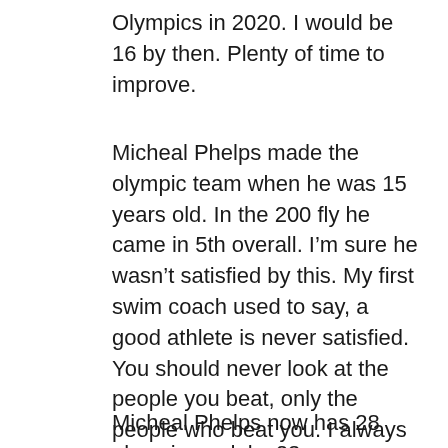Olympics in 2020. I would be 16 by then. Plenty of time to improve.
Micheal Phelps made the olympic team when he was 15 years old. In the 200 fly he came in 5th overall. I’m sure he wasn’t satisfied by this. My first swim coach used to say, a good athlete is never satisfied. You should never look at the people you beat, only the people who beat you. I always liked winning. Usually it was pretty easy. But when it wasn’t I was incapacitated. I remember one morning we played a game and the objective was to get across the pool in as few breaststroke kicks as possible. The record was four. I was stuck at fifteen.
Micheal Phelps now has 28 olympic medals. 23